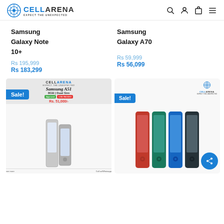CELLARENA — EXPECT THE UNEXPECTED
Samsung
Galaxy Note
10+
Rs 195,999
Rs 183,299
Samsung
Galaxy A70
Rs 59,999
Rs 56,099
[Figure (photo): Samsung A51 sale advertisement showing two phones with Sale! badge, price Rs. 51,000]
[Figure (photo): Four Samsung phones in different colors (red, green, blue, black) with Sale! badge and CellArena logo, with share button]